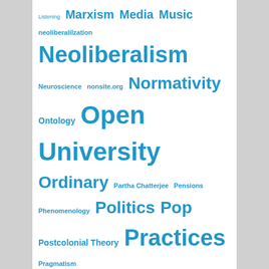[Figure (infographic): Tag cloud of academic topics in blue, varying font sizes indicating frequency/importance. Terms include: Listening, Marxism, Media, Music, neoliberalilzation, Neoliberalism, Neuroscience, nonsite.org, Normativity, Ontology, Open University, Ordinary, Partha Chatterjee, Pensions, Phenomenology, Politics, Pop, Postcolonial Theory, Practices, Pragmatism, Problematization, Publicness, Publics, Public Space, Public Sphere, Public University, Representation, research funding, Responsibility, Robert Caro, Routledge Series, Ruth Leys, Simon Critchley, Social Science, Social Theory, South Africa, Southern Theory, space]